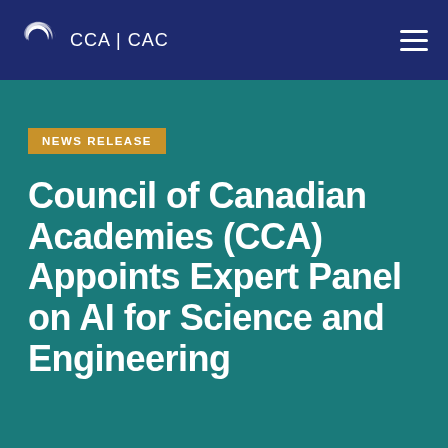CCA | CAC
NEWS RELEASE
Council of Canadian Academies (CCA) Appoints Expert Panel on AI for Science and Engineering